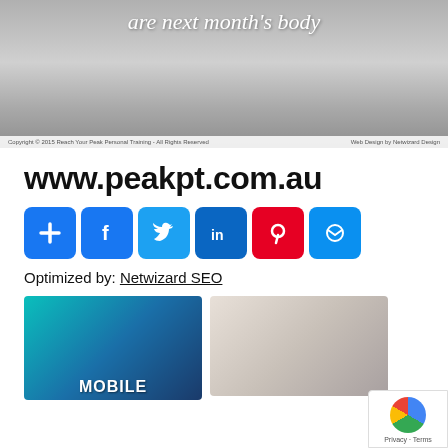[Figure (screenshot): Website screenshot showing a black and white photo of a person with script text 'are next month's body' overlaid in white, with a copyright footer bar]
www.peakpt.com.au
[Figure (infographic): Row of social sharing icon buttons: Add (blue), Facebook (blue), Twitter (light blue), LinkedIn (dark blue), Pinterest (red), Messenger (blue)]
Optimized by: Netwizard SEO
[Figure (photo): Two photos at bottom: left shows a mobile phone with 'MOBILE' text on teal/blue background with search icon; right shows someone holding a camera]
[Figure (other): reCAPTCHA Privacy - Terms badge in bottom right corner]